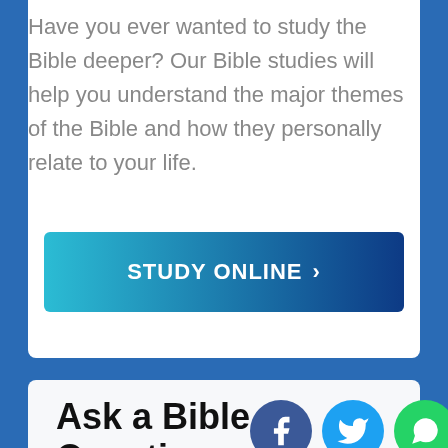Have you ever wanted to study the Bible deeper? Our Bible studies will help you understand the major themes of the Bible and how they personally relate to your life.
[Figure (other): Button with gradient from cyan to dark blue reading STUDY ONLINE with arrow]
Ask a Bible Question
[Figure (other): Social media icons: Facebook (blue circle), Twitter (blue circle), WhatsApp (green circle), Email (red circle)]